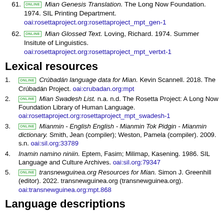61. [ONLINE] Mian Genesis Translation. The Long Now Foundation. 1974. SIL Printing Department. oai:rosettaproject.org:rosettaproject_mpt_gen-1
62. [ONLINE] Mian Glossed Text. Loving, Richard. 1974. Summer Insitute of Linguistics. oai:rosettaproject.org:rosettaproject_mpt_vertxt-1
Lexical resources
1. [ONLINE] Crúbadán language data for Mian. Kevin Scannell. 2018. The Crúbadán Project. oai:crubadan.org:mpt
2. [ONLINE] Mian Swadesh List. n.a. n.d. The Rosetta Project: A Long Now Foundation Library of Human Language. oai:rosettaproject.org:rosettaproject_mpt_swadesh-1
3. [ONLINE] Mianmin - English English - Mianmin Tok Pidgin - Mianmin dictionary. Smith, Jean (compiler); Weston, Pamela (compiler). 2009. s.n. oai:sil.org:33789
4. Inamin namino niniin. Eptem, Fasim; Milimap, Kasening. 1986. SIL Language and Culture Archives. oai:sil.org:79347
5. [ONLINE] transnewguinea.org Resources for Mian. Simon J. Greenhill (editor). 2022. transnewguinea.org (transnewguinea.org). oai:transnewguinea.org:mpt.868
Language descriptions